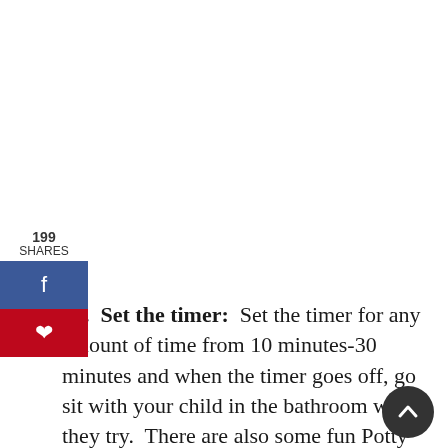[Figure (other): Social sharing sidebar with 199 shares count, Facebook share button, and Pinterest save button]
15.  Set the timer:  Set the timer for any amount of time from 10 minutes-30 minutes and when the timer goes off, go sit with your child in the bathroom while they try.  There are also some fun Potty Training Apps that set the timer for you on the phone.
16. Expect to wait:  The first few times they try to go potty, it will take FOREVER for it to happen.  Just sit and wait, sing songs or talking or read a story or something. This is good bonding time.